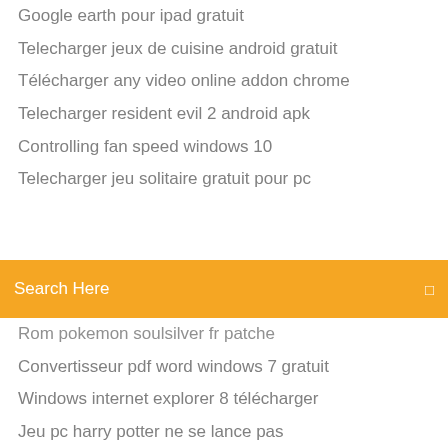Google earth pour ipad gratuit
Telecharger jeux de cuisine android gratuit
Télécharger any video online addon chrome
Telecharger resident evil 2 android apk
Controlling fan speed windows 10
Telecharger jeu solitaire gratuit pour pc
[Figure (screenshot): Orange search bar with text 'Search Here' and a small icon on the right]
Rom pokemon soulsilver fr patche
Convertisseur pdf word windows 7 gratuit
Windows internet explorer 8 télécharger
Jeu pc harry potter ne se lance pas
Ghost recon phantoms pc system requirements
Descargar roller coaster tycoon 3
Merge multiple pdf foxit reader
Conversion fichier audio m4a en mp3
Google earth online 2020
Dvd shrink windows 10 free